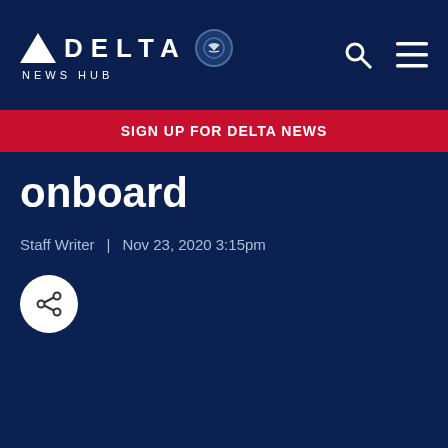DELTA NEWS HUB
SIGN UP FOR DELTA NEWS
onboard
Staff Writer  |  Nov 23, 2020 3:15pm
By continuing to browse, you consent to our use of cookies. To know more, please refer to our Cookie and Privacy Policies.
I AGREE
No, thanks